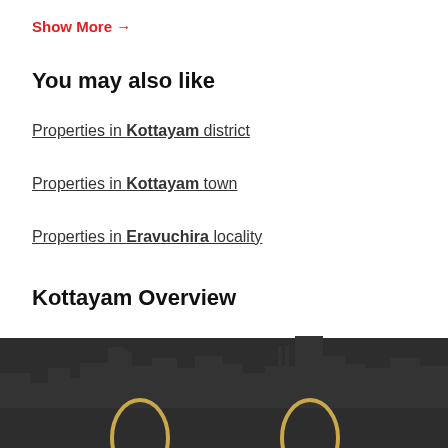Show More →
You may also like
Properties in Kottayam district
Properties in Kottayam town
Properties in Eravuchira locality
Kottayam Overview
Real Estate in Kottayam
[Figure (illustration): City skyline silhouette in dark gray with two circular shapes (zeros) in gold/yellow at the bottom, against a dark background]